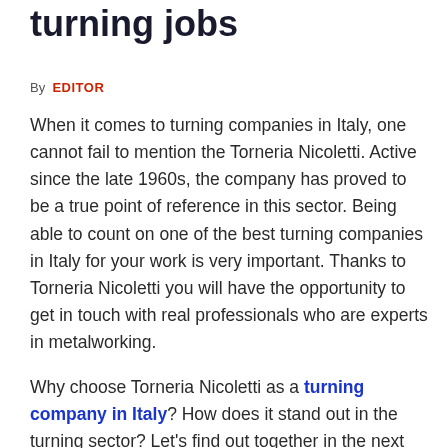turning jobs
By EDITOR
When it comes to turning companies in Italy, one cannot fail to mention the Torneria Nicoletti. Active since the late 1960s, the company has proved to be a true point of reference in this sector. Being able to count on one of the best turning companies in Italy for your work is very important. Thanks to Torneria Nicoletti you will have the opportunity to get in touch with real professionals who are experts in metalworking.
Why choose Torneria Nicoletti as a turning company in Italy? How does it stand out in the turning sector? Let's find out together in the next paragraphs.